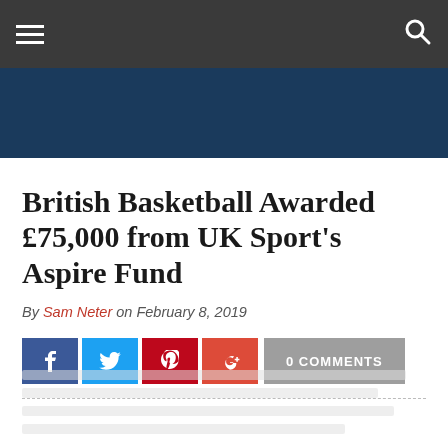Navigation bar with hamburger menu and search icon
[Figure (other): Dark blue banner/header image area]
British Basketball Awarded £75,000 from UK Sport's Aspire Fund
By Sam Neter on February 8, 2019
0 COMMENTS
Faded article body text (not legible)